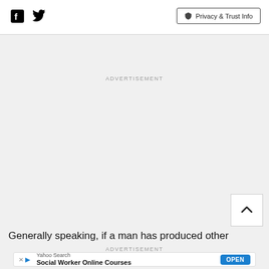[Figure (other): Social media icons: Facebook and Twitter logos in black]
Privacy & Trust Info
ADVERTISEMENT
[Figure (other): Scroll to top button with upward chevron arrow]
Generally speaking, if a man has produced other
ADVERTISEMENT
[Figure (other): Yahoo Search advertisement banner: Social Worker Online Courses, with OPEN button]